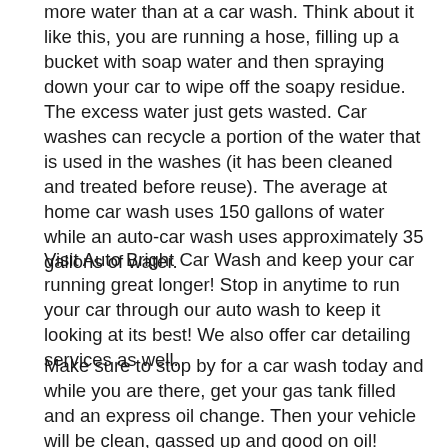more water than at a car wash. Think about it like this, you are running a hose, filling up a bucket with soap water and then spraying down your car to wipe off the soapy residue. The excess water just gets wasted. Car washes can recycle a portion of the water that is used in the washes (it has been cleaned and treated before reuse). The average at home car wash uses 150 gallons of water while an auto-car wash uses approximately 35 gallons of water.
Visit Auto Bright Car Wash and keep your car running great longer! Stop in anytime to run your car through our auto wash to keep it looking at its best! We also offer car detailing services as well.
Make sure to stop by for a car wash today and while you are there, get your gas tank filled and an express oil change. Then your vehicle will be clean, gassed up and good on oil!
Follow us on Facebook, Twitter, and Google+ for up to the minute deals and information about the products and